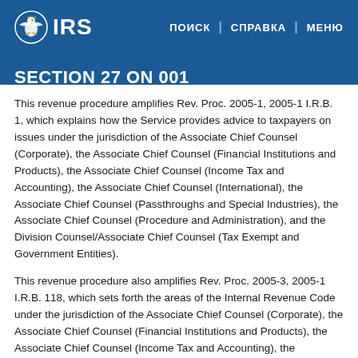IRS | ПОИСК | СПРАВКА | МЕНЮ
SECTION 27 ON 001
This revenue procedure amplifies Rev. Proc. 2005-1, 2005-1 I.R.B. 1, which explains how the Service provides advice to taxpayers on issues under the jurisdiction of the Associate Chief Counsel (Corporate), the Associate Chief Counsel (Financial Institutions and Products), the Associate Chief Counsel (Income Tax and Accounting), the Associate Chief Counsel (International), the Associate Chief Counsel (Passthroughs and Special Industries), the Associate Chief Counsel (Procedure and Administration), and the Division Counsel/Associate Chief Counsel (Tax Exempt and Government Entities).
This revenue procedure also amplifies Rev. Proc. 2005-3, 2005-1 I.R.B. 118, which sets forth the areas of the Internal Revenue Code under the jurisdiction of the Associate Chief Counsel (Corporate), the Associate Chief Counsel (Financial Institutions and Products), the Associate Chief Counsel (Income Tax and Accounting), the Associate Chief Counsel (Passthroughs and Special Industries), the